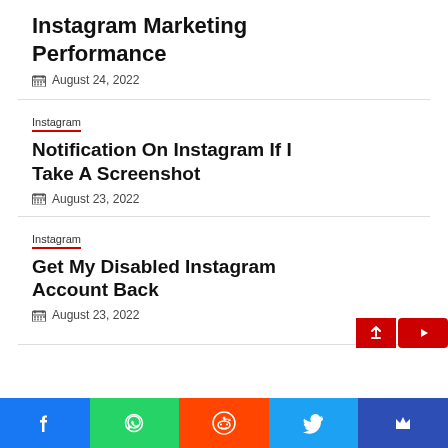Instagram Marketing Performance
August 24, 2022
Instagram
Notification On Instagram If I Take A Screenshot
August 23, 2022
Instagram
Get My Disabled Instagram Account Back
August 23, 2022